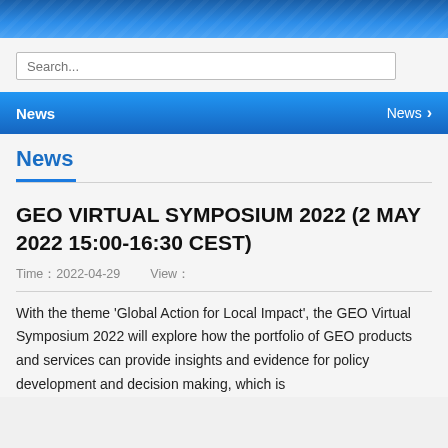Search...
News   News >
News
GEO VIRTUAL SYMPOSIUM 2022 (2 MAY 2022 15:00-16:30 CEST)
Time：2022-04-29   View：
With the theme 'Global Action for Local Impact', the GEO Virtual Symposium 2022 will explore how the portfolio of GEO products and services can provide insights and evidence for policy development and decision making, which is